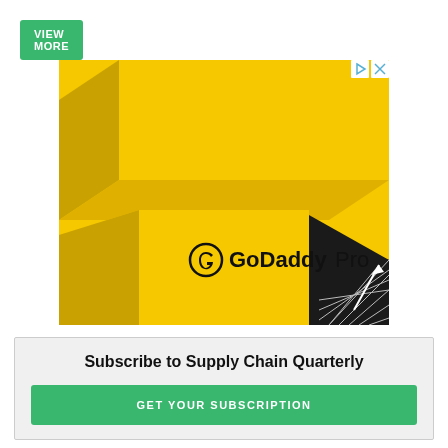VIEW MORE
[Figure (illustration): GoDaddy Pro advertisement showing yellow 3D geometric block shapes on a dark background with GoDaddy Pro logo text, with an ad badge (play arrow and X icons) in the top right corner.]
Subscribe to Supply Chain Quarterly
GET YOUR SUBSCRIPTION